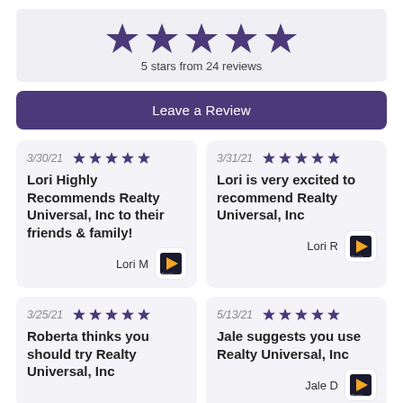[Figure (infographic): Five purple stars rating display with text '5 stars from 24 reviews' on a light gray background banner]
Leave a Review
3/30/21 ★★★★★ Lori Highly Recommends Realty Universal, Inc to their friends & family! Lori M
3/31/21 ★★★★★ Lori is very excited to recommend Realty Universal, Inc Lori R
3/25/21 ★★★★★ Roberta thinks you should try Realty Universal, Inc
5/13/21 ★★★★★ Jale suggests you use Realty Universal, Inc Jale D